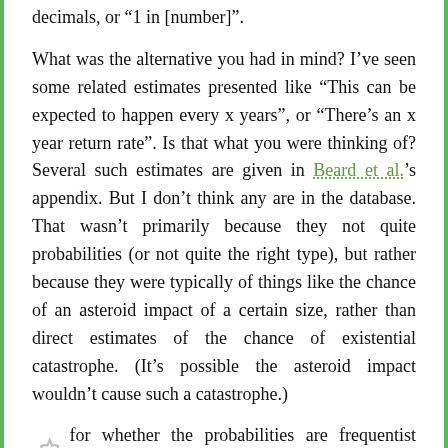decimals, or “1 in [number]”.
What was the alternative you had in mind? I’ve seen some related estimates presented like “This can be expected to happen every x years”, or “There’s an x year return rate”. Is that what you were thinking of? Several such estimates are given in Beard et al.’s appendix. But I don’t think any are in the database. That wasn’t primarily because they not quite probabilities (or not quite the right type), but rather because they were typically of things like the chance of an asteroid impact of a certain size, rather than direct estimates of the chance of existential catastrophe. (It’s possible the asteroid impact wouldn’t cause such a catastrophe.)
As for whether the probabilities are frequentist or Bayesian, I think many sources weren’t explicit